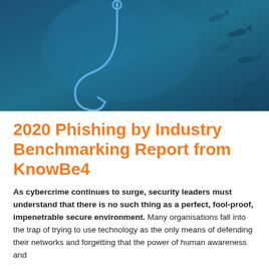[Figure (illustration): A fishing hook underwater on a blue background with small fish silhouettes in the background, illustrating a phishing concept.]
2020 Phishing by Industry Benchmarking Report from KnowBe4
As cybercrime continues to surge, security leaders must understand that there is no such thing as a perfect, fool-proof, impenetrable secure environment. Many organisations fall into the trap of trying to use technology as the only means of defending their networks and forgetting that the power of human awareness and